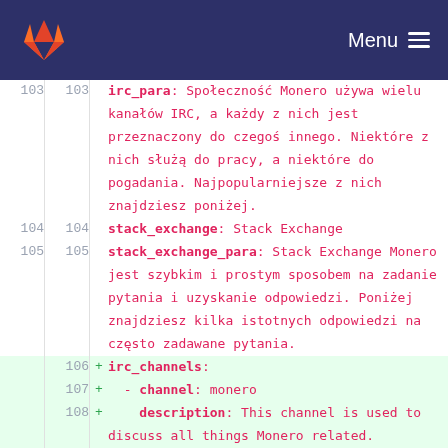[Figure (screenshot): GitLab navigation header with fox logo and Menu button on dark navy background]
103  103    irc_para: Społeczność Monero używa wielu kanałów IRC, a każdy z nich jest przeznaczony do czegoś innego. Niektóre z nich służą do pracy, a niektóre do pogadania. Najpopularniejsze z nich znajdziesz poniżej.
104  104    stack_exchange: Stack Exchange
105  105    stack_exchange_para: Stack Exchange Monero jest szybkim i prostym sposobem na zadanie pytania i uzyskanie odpowiedzi. Poniżej znajdziesz kilka istotnych odpowiedzi na często zadawane pytania.
+106        irc_channels:
+107        - channel: monero
+108          description: This channel is used to discuss all things Monero related.
109+         channel: monero_community